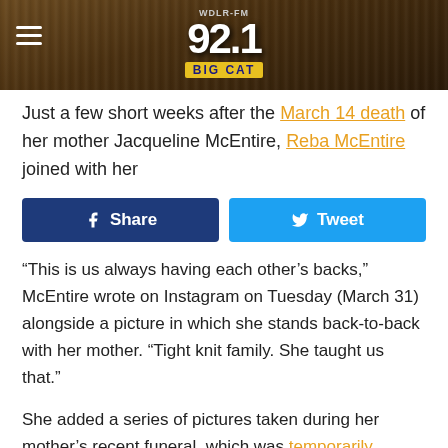[Figure (logo): 92.1 Big Cat FM radio station logo with hamburger menu icon on dark wood background]
Just a few short weeks after the March 14 death of her mother Jacqueline McEntire, Reba McEntire joined with her
[Figure (other): Facebook Share and Twitter Tweet social sharing buttons]
“This is us always having each other’s backs,” McEntire wrote on Instagram on Tuesday (March 31) alongside a picture in which she stands back-to-back with her mother. “Tight knit family. She taught us that.”
She added a series of pictures taken during her mother’s recent funeral, which was temporarily postponed due to the coronavirus (COVID-19) pandemic.
Click through the pictures below to see the beautiful